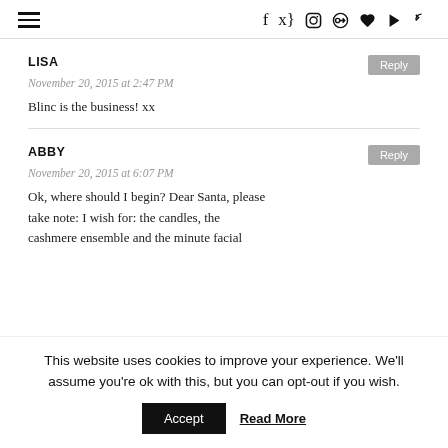Navigation bar with hamburger menu and social icons: f, twitter, instagram, pinterest, heart, youtube, rss
LISA
November 20, 2015 at 2:47 PM
Blinc is the business! xx
ABBY
November 20, 2015 at 6:07 PM
Ok, where should I begin? Dear Santa, please take note: I wish for: the candles, the cashmere ensemble and the minute facial
This website uses cookies to improve your experience. We'll assume you're ok with this, but you can opt-out if you wish.